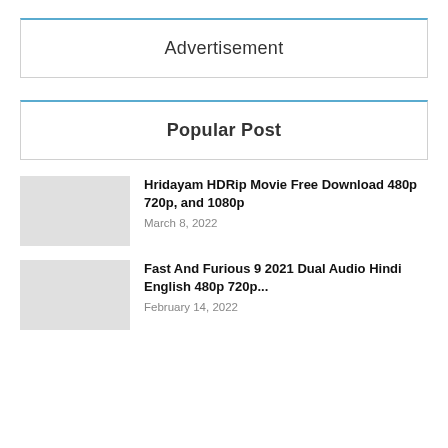Advertisement
Popular Post
Hridayam HDRip Movie Free Download 480p 720p, and 1080p
March 8, 2022
Fast And Furious 9 2021 Dual Audio Hindi English 480p 720p...
February 14, 2022